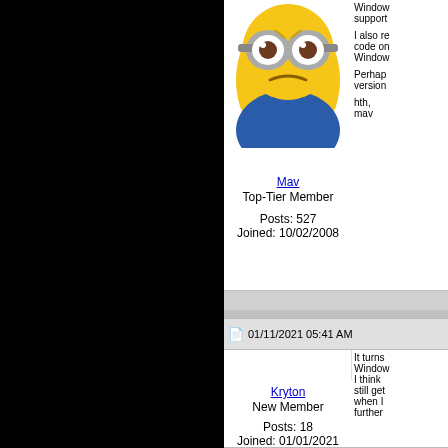[Figure (photo): Black area on left half of page]
[Figure (photo): Minion character avatar image for user Mav]
Mav
Top-Tier Member

Posts: 527
Joined: 10/02/2008
Window support

I also re code on Window

Perhap version

hth,
mav
01/11/2021 05:41 AM
[Figure (photo): Default/placeholder avatar silhouette for user Kryton]
Kryton
New Member

Posts: 18
Joined: 01/01/2021
It turns Window I think still get when I further